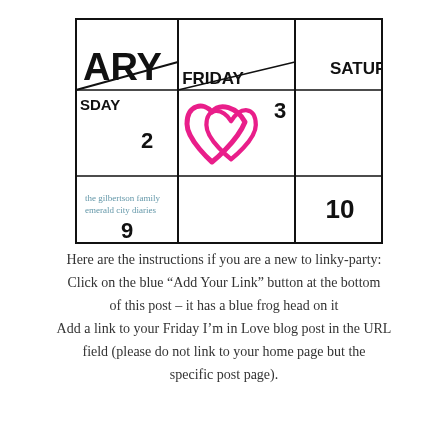[Figure (illustration): Calendar page showing January, Friday column with a pink hand-drawn heart circling the date 3, Thursday column showing date 2, Saturday column partially visible, date 10 visible at bottom right. Watermark text reads 'the gilbertson family emerald city diaries'.]
Here are the instructions if you are a new to linky-party: Click on the blue “Add Your Link” button at the bottom of this post – it has a blue frog head on it Add a link to your Friday I’m in Love blog post in the URL field (please do not link to your home page but the specific post page).